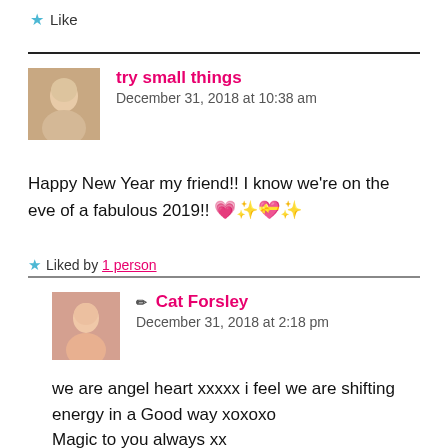★ Like
try small things
December 31, 2018 at 10:38 am
Happy New Year my friend!! I know we're on the eve of a fabulous 2019!! 💗✨💝✨
★ Liked by 1 person
✏ Cat Forsley
December 31, 2018 at 2:18 pm
we are angel heart xxxxx i feel we are shifting energy in a Good way xoxoxo
Magic to you always xx